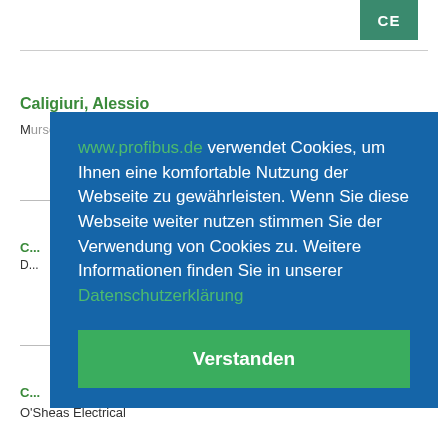[Figure (logo): CE logo mark in teal/green square]
Caligiuri, Alessio
Murselt kelle... Sel...
C... D...
O'Sheas Electrical
www.profibus.de verwendet Cookies, um Ihnen eine komfortable Nutzung der Webseite zu gewährleisten. Wenn Sie diese Webseite weiter nutzen stimmen Sie der Verwendung von Cookies zu. Weitere Informationen finden Sie in unserer Datenschutzerklärung
Verstanden